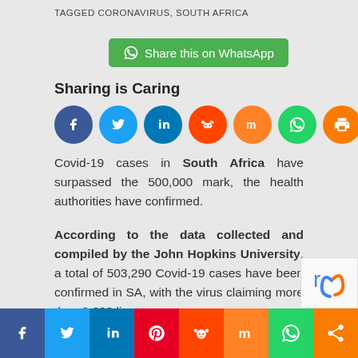TAGGED CORONAVIRUS, SOUTH AFRICA
[Figure (other): WhatsApp share button with green background]
Sharing is Caring
[Figure (other): Row of social media sharing icons: Facebook, Twitter, LinkedIn, Reddit, Mix, WhatsApp, Print, Email]
Covid-19 cases in South Africa have surpassed the 500,000 mark, the health authorities have confirmed.
According to the data collected and compiled by the John Hopkins University, a total of 503,290 Covid-19 cases have been confirmed in SA, with the virus claiming more than 8,000 lives.
[Figure (other): Bottom social share bar with Facebook, Twitter, LinkedIn, Pinterest, Reddit, Mix, WhatsApp, Share icons]